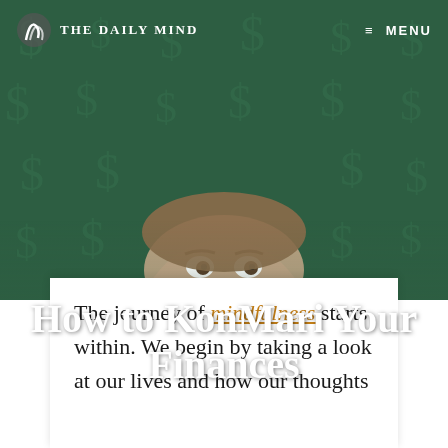THE DAILY MIND
≡ MENU
[Figure (photo): Hero banner image of a man looking upward against a dark green chalkboard background covered with dollar sign symbols]
How to KonMari Your Finances
The journey of mindfulness starts within. We begin by taking a look at our lives and how our thoughts